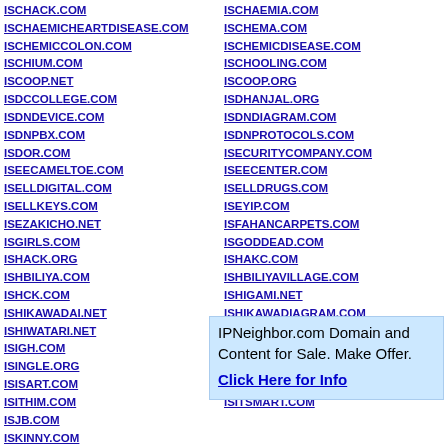ISCHACK.COM
ISCHAEMICHEARTDISEASE.COM
ISCHEMICCOLON.COM
ISCHIUM.COM
ISCOOP.NET
ISDCCOLLEGE.COM
ISDNDEVICE.COM
ISDNPBX.COM
ISDOR.COM
ISEECAMELTOE.COM
ISELLDIGITAL.COM
ISELLKEYS.COM
ISEZAKICHO.NET
ISGIRLS.COM
ISHACK.ORG
ISHBILIYA.COM
ISHCK.COM
ISHIKAWADAI.NET
ISHIWATARI.NET
ISIGH.COM
ISINGLE.ORG
ISISART.COM
ISITHIM.COM
ISJB.COM
ISKINNY.COM
ISLAMANSWERS.ORG
ISLAMHERITAGE.COM
ISLAMIC-NAME.COM
ISCHAEMIA.COM
ISCHEMA.COM
ISCHEMICDISEASE.COM
ISCHOOLING.COM
ISCOOP.ORG
ISDHANJAL.ORG
ISDNDIAGRAM.COM
ISDNPROTOCOLS.COM
ISECURITYCOMPANY.COM
ISEECENTER.COM
ISELLDRUGS.COM
ISEYIP.COM
ISFAHANCARPETS.COM
ISGODDEAD.COM
ISHAKC.COM
ISHBILIYAVILLAGE.COM
ISHIGAMI.NET
ISHIKAWADIAGRAM.COM
ISHREDDER.COM
ISII.INFO
ISINGLES.NET
ISISGODDESS.COM
ISITSMART.COM
IPNeighbor.com Domain and Content for Sale. Make Offer. Click Here for Info